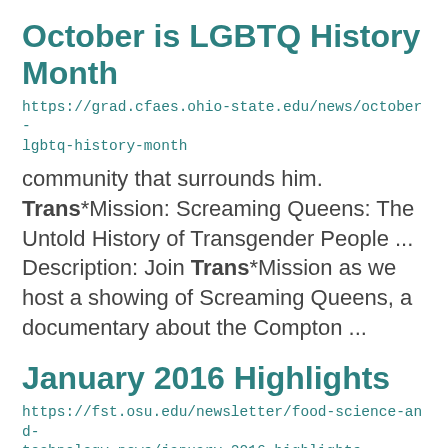October is LGBTQ History Month
https://grad.cfaes.ohio-state.edu/news/october-lgbtq-history-month
community that surrounds him. Trans*Mission: Screaming Queens: The Untold History of Transgender People ... Description: Join Trans*Mission as we host a showing of Screaming Queens, a documentary about the Compton ...
January 2016 Highlights
https://fst.osu.edu/newsletter/food-science-and-technology-news/january-2016-highlights
Portable Spectrometry in Determination of Trans-fatty Acid Content in Bakery